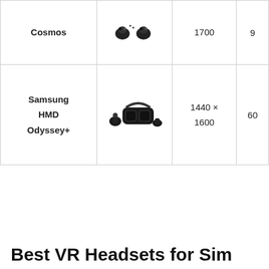| Device | Image | Resolution | FPS |
| --- | --- | --- | --- |
| Cosmos | [image] | 1700 | 9 |
| Samsung HMD Odyssey+ | [image] | 1440 × 1600 | 60 |
Best VR Headsets for Sim